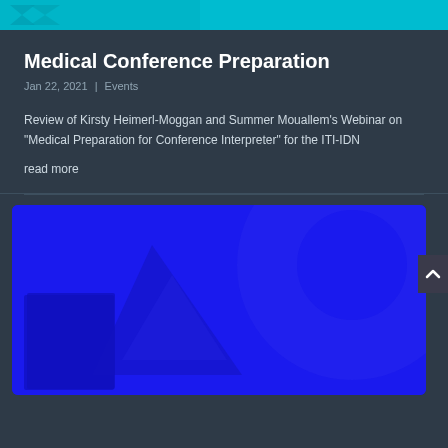[Figure (illustration): Teal/cyan banner strip at top with geometric shapes (chevron/arrow logos)]
Medical Conference Preparation
Jan 22, 2021 | Events
Review of Kirsty Heimerl-Moggan and Summer Mouallem’s Webinar on “Medical Preparation for Conference Interpreter” for the ITI-IDN
read more
[Figure (illustration): Blue card with geometric dark blue shapes (triangles, rectangles) forming an abstract design, partially visible]